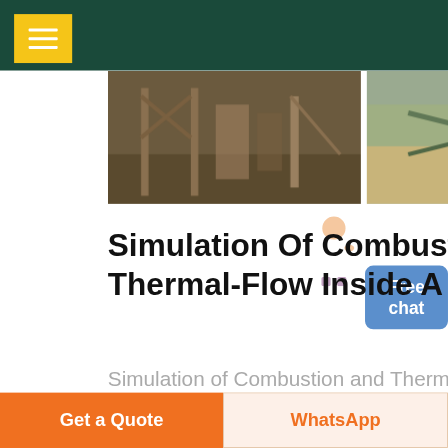[Figure (screenshot): Website header with dark green background and yellow hamburger menu button]
[Figure (photo): Three industrial/mining site photographs showing conveyor belts, scaffolding and industrial equipment]
Simulation Of Combustion And Thermal-Flow Inside A ...
Simulation of Combustion and Thermal-flow Inside a Petroleum Coke Rotary Calcining Kiln A Thesis Submitted to the Graduate Faculty of the University of New Orleans in partial fulfillment of the requirements for the degree of Master of Science in Mechanical Engineering by Zexuan Zhang B.S. University of New Orleans, 2003 May,
Get a Quote
WhatsApp